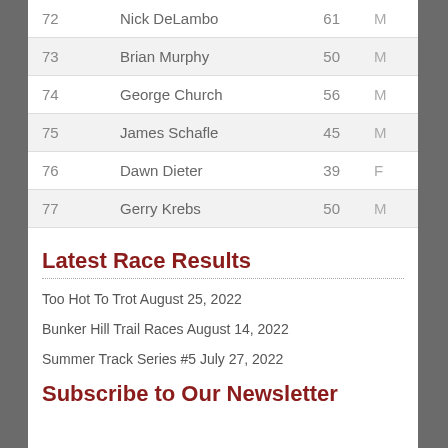| # | Name | Age | Gender |
| --- | --- | --- | --- |
| 72 | Nick DeLambo | 61 | M |
| 73 | Brian Murphy | 50 | M |
| 74 | George Church | 56 | M |
| 75 | James Schafle | 45 | M |
| 76 | Dawn Dieter | 39 | F |
| 77 | Gerry Krebs | 50 | M |
Latest Race Results
Too Hot To Trot August 25, 2022
Bunker Hill Trail Races August 14, 2022
Summer Track Series #5 July 27, 2022
Subscribe to Our Newsletter